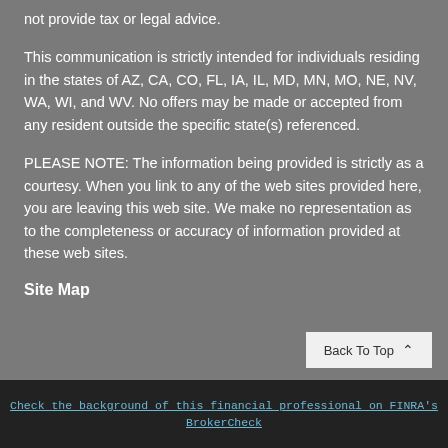not provide tax or legal advice.
This communication is strictly intended for individuals residing in the states of AZ, CA, CO, FL, IA, IL, MD, MN, MO, NE, NV, WA, WI, and WV. No offers may be made or accepted from any resident outside the specific state(s) referenced.
PLEASE NOTE: The information being provided is strictly as a courtesy. When you link to any of the web sites provided here, you are leaving this web site. We make no representation as to the completeness or accuracy of information provided at these web sites.
Site Map
Back To Top
Check the background of this financial professional on FINRA's BrokerCheck